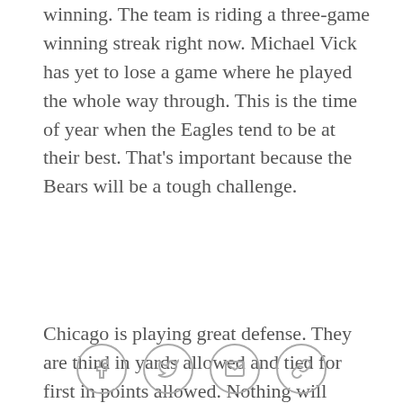winning. The team is riding a three-game winning streak right now. Michael Vick has yet to lose a game where he played the whole way through. This is the time of year when the Eagles tend to be at their best. That's important because the Bears will be a tough challenge.
Chicago is playing great defense. They are third in yards allowed and tied for first in points allowed. Nothing will come easy against them. I think the Eagles benefit from this game coming right after the matchup with the Giants. New York had the top defense in the NFL prior to last week's game. They gave us a major test. The offensive line faced a very good front seven. Vick had to adjust to playing a team that could pressure him, but still cover receivers down the field. The coaching staff got to scheme against a defense that could come up
[Figure (other): Social sharing icons: Facebook, Twitter, Email, Link]